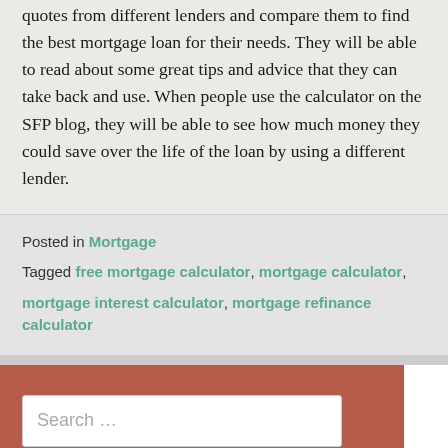quotes from different lenders and compare them to find the best mortgage loan for their needs. They will be able to read about some great tips and advice that they can take back and use. When people use the calculator on the SFP blog, they will be able to see how much money they could save over the life of the loan by using a different lender.
Posted in Mortgage
Tagged free mortgage calculator, mortgage calculator, mortgage interest calculator, mortgage refinance calculator